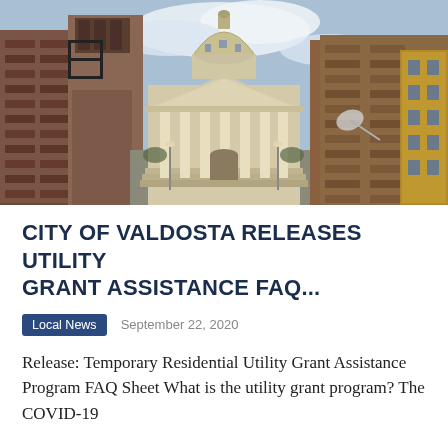[Figure (photo): Street-level view looking toward a neoclassical government building (city hall) with a dome, columned portico, and pediment, flanked by brick commercial buildings on both sides. Sky with clouds visible above.]
CITY OF VALDOSTA RELEASES UTILITY GRANT ASSISTANCE FAQ...
Local News   September 22, 2020
Release: Temporary Residential Utility Grant Assistance Program FAQ Sheet What is the utility grant program? The COVID-19